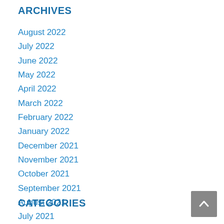ARCHIVES
August 2022
July 2022
June 2022
May 2022
April 2022
March 2022
February 2022
January 2022
December 2021
November 2021
October 2021
September 2021
August 2021
July 2021
June 2021
CATEGORIES